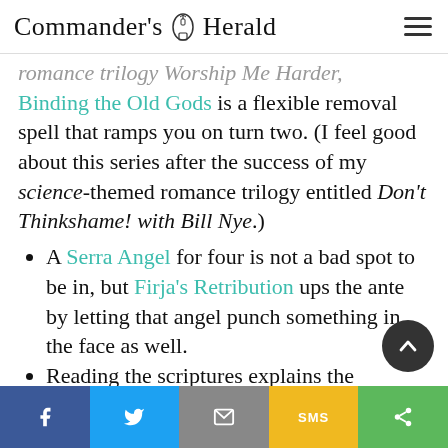Commander's Herald
romance trilogy Worship Me Harder, Binding the Old Gods is a flexible removal spell that ramps you on turn two. (I feel good about this series after the success of my science-themed romance trilogy entitled Don't Thinkshame! with Bill Nye.)
A Serra Angel for four is not a bad spot to be in, but Firja's Retribution ups the ante by letting that angel punch something in the face as well.
Reading the scriptures explains the
f   Twitter   Email   SMS   Share